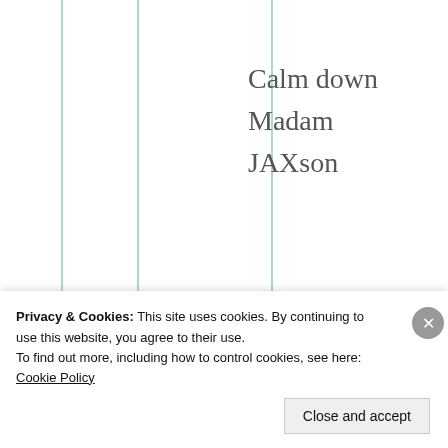[Figure (illustration): Three vertical green lines on the left side of the page, decorative blog layout element]
Calm down
Madam
JAXson
★ Liked by 1 person
[Figure (photo): Circular avatar photo of a woman with gray/silver hair]
Judy Ca
Privacy & Cookies: This site uses cookies. By continuing to use this website, you agree to their use.
To find out more, including how to control cookies, see here: Cookie Policy
Close and accept